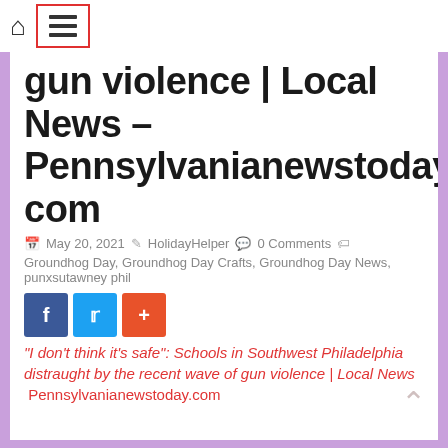Home | Menu navigation bar
gun violence | Local News – Pennsylvanianewstoday.com
May 20, 2021  HolidayHelper  0 Comments
Groundhog Day, Groundhog Day Crafts, Groundhog Day News, punxsutawney phil
"I don't think it's safe": Schools in Southwest Philadelphia distraught by the recent wave of gun violence | Local News  Pennsylvanianewstoday.com